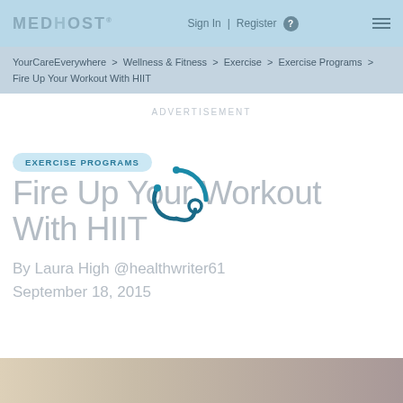MEDHOST | Sign In | Register | ≡
YourCareEverywhere > Wellness & Fitness > Exercise > Exercise Programs > Fire Up Your Workout With HIIT
ADVERTISEMENT
EXERCISE PROGRAMS
Fire Up Your Workout With HIIT
By Laura High @healthwriter61
September 18, 2015